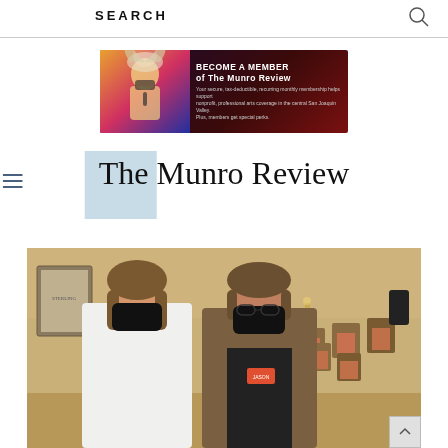SEARCH
[Figure (illustration): Banner advertisement: 'BECOME A MEMBER of The Munro Review' with dark red/purple background, performer on left, text on right describing recurring membership benefits for nonprofit arts coverage in the central San Joaquin Valley.]
[Figure (logo): The Munro Review logo — serif text 'The Munro Review' with a light blue rectangle behind the 'M', plus a hamburger menu icon to the left.]
[Figure (photo): Two people wearing black face masks standing together in a banquet/event room with chairs visible in the background. Person on left wears a white shirt; person on right wears a brown blazer over a black shirt with a nametag.]